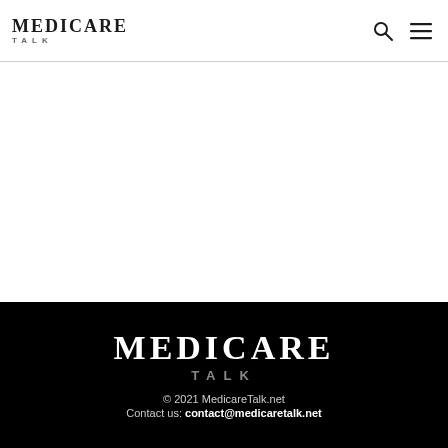MEDICARE TALK
MEDICARE TALK © 2021 MedicareTalk.net Contact us: contact@medicaretalk.net